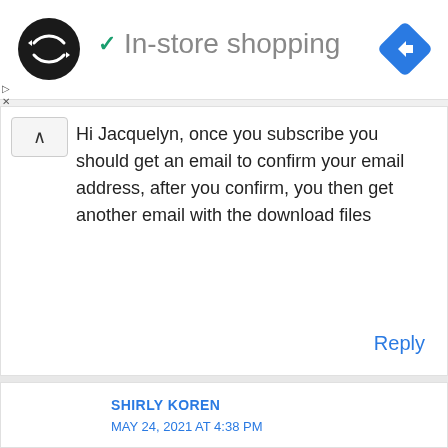[Figure (screenshot): Website header with circular logo icon (black circle with double arrow symbol), a teal checkmark, text 'In-store shopping' in gray, and a blue diamond navigation icon on the right]
Hi Jacquelyn, once you subscribe you should get an email to confirm your email address, after you confirm, you then get another email with the download files
Reply
SHIRLY KOREN
MAY 24, 2021 AT 4:38 PM